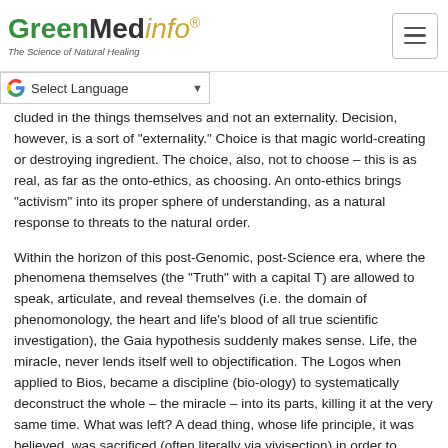GreenMedinfo — The Science of Natural Healing
...cluded in the things themselves and not an externality. Decision, however, is a sort of "externality." Choice is that magic world-creating or destroying ingredient. The choice, also, not to choose – this is as real, as far as the onto-ethics, as choosing. An onto-ethics brings "activism" into its proper sphere of understanding, as a natural response to threats to the natural order.
Within the horizon of this post-Genomic, post-Science era, where the phenomena themselves (the "Truth" with a capital T) are allowed to speak, articulate, and reveal themselves (i.e. the domain of phenomonology, the heart and life's blood of all true scientific investigation), the Gaia hypothesis suddenly makes sense. Life, the miracle, never lends itself well to objectification. The Logos when applied to Bios, became a discipline (bio-ology) to systematically deconstruct the whole – the miracle – into its parts, killing it at the very same time. What was left? A dead thing, whose life principle, it was believed, was sacrificed (often literally via vivisection) in order to extract and abstract "knowledge."  But the finger pointing at the moon will never BE the moon. The fully completed